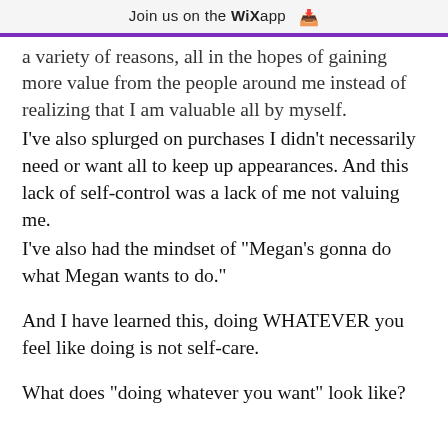Join us on the WiX app ↓
a variety of reasons, all in the hopes of gaining more value from the people around me instead of realizing that I am valuable all by myself.
I've also splurged on purchases I didn't necessarily need or want all to keep up appearances. And this lack of self-control was a lack of me not valuing me.
I've also had the mindset of "Megan's gonna do what Megan wants to do."

And I have learned this, doing WHATEVER you feel like doing is not self-care.

What does "doing whatever you want" look like?